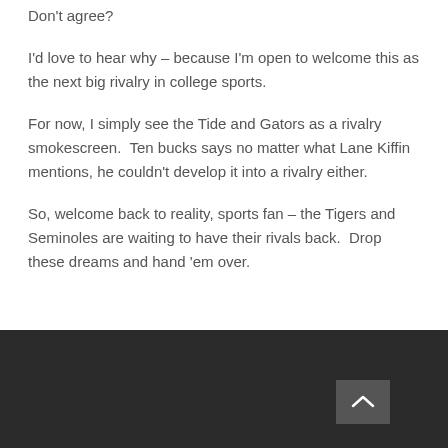Don't agree?
I'd love to hear why – because I'm open to welcome this as the next big rivalry in college sports.
For now, I simply see the Tide and Gators as a rivalry smokescreen.  Ten bucks says no matter what Lane Kiffin mentions, he couldn't develop it into a rivalry either.
So, welcome back to reality, sports fan – the Tigers and Seminoles are waiting to have their rivals back.  Drop these dreams and hand 'em over.
[Figure (other): Dark footer bar with a scroll-up button (chevron arrow) on the right side]